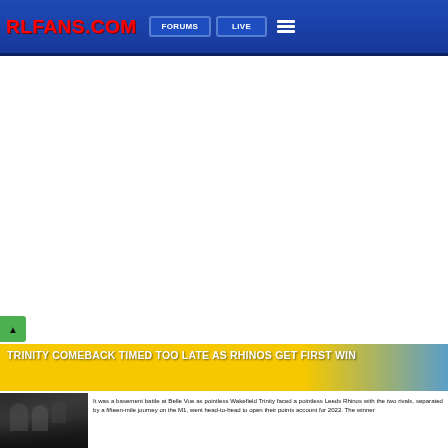RLFANS.COM — FORUMS | LIVE
[Figure (photo): White advertisement space in the middle of the page]
TRINITY COMEBACK TIMED TOO LATE AS RHINOS GET FIRST WIN
[Figure (photo): Dark photo of rugby league players in yellow and blue jerseys]
It was a basement battle at Belle Vue as pointless Wakefield Trinity faced a pointless Leeds Rhinos with the two rivals, separated by a fifteen-mile journey on the M1, went head-to-head to open their points account for 2022. The winner